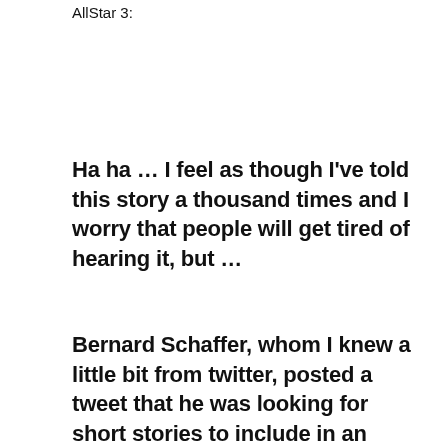AllStar 3:
Ha ha … I feel as though I've told this story a thousand times and I worry that people will get tired of hearing it, but …
Bernard Schaffer, whom I knew a little bit from twitter, posted a tweet that he was looking for short stories to include in an anthology. Within twenty-four hours, I sent him a polished draft of a piece I'd written a while back and never really done anything with. It was one of the first pieces Bernard accepted for the first KAS project. From there, I ended up helping with publicity and,